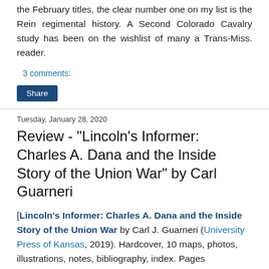the February titles, the clear number one on my list is the Rein regimental history. A Second Colorado Cavalry study has been on the wishlist of many a Trans-Miss. reader.
3 comments:
Share
Tuesday, January 28, 2020
Review - "Lincoln's Informer: Charles A. Dana and the Inside Story of the Union War" by Carl Guarneri
[Lincoln's Informer: Charles A. Dana and the Inside Story of the Union War by Carl J. Guarneri (University Press of Kansas, 2019). Hardcover, 10 maps, photos, illustrations, notes, bibliography, index. Pages main/total:xii,415/527. ISBN:978-0-7006-2846-9. $39.95]
[Figure (photo): Book cover of Lincoln's Informer showing the title in gold text on a dark blue background]